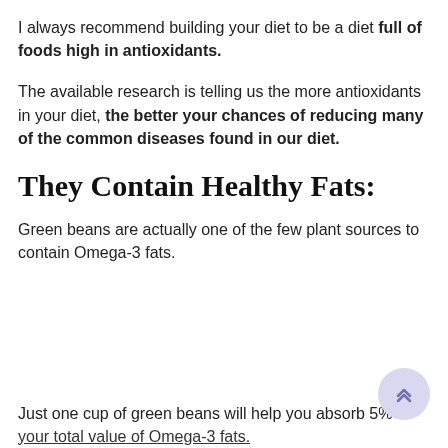I always recommend building your diet to be a diet full of foods high in antioxidants.
The available research is telling us the more antioxidants in your diet, the better your chances of reducing many of the common diseases found in our diet.
They Contain Healthy Fats:
Green beans are actually one of the few plant sources to contain Omega-3 fats.
Just one cup of green beans will help you absorb 5% of your total value of Omega-3 fats.